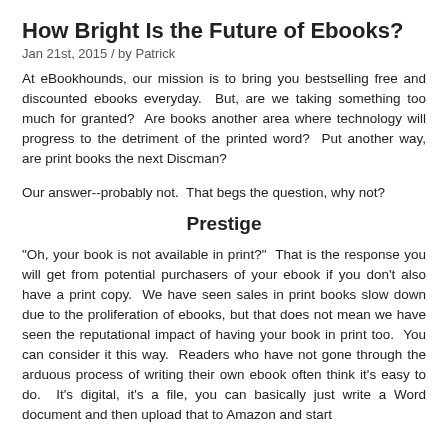How Bright Is the Future of Ebooks?
Jan 21st, 2015 / by Patrick
At eBookhounds, our mission is to bring you bestselling free and discounted ebooks everyday.  But, are we taking something too much for granted?  Are books another area where technology will progress to the detriment of the printed word?  Put another way, are print books the next Discman?
Our answer--probably not.  That begs the question, why not?
Prestige
"Oh, your book is not available in print?"  That is the response you will get from potential purchasers of your ebook if you don't also have a print copy.  We have seen sales in print books slow down due to the proliferation of ebooks, but that does not mean we have seen the reputational impact of having your book in print too.  You can consider it this way.  Readers who have not gone through the arduous process of writing their own ebook often think it's easy to do.  It's digital, it's a file, you can basically just write a Word document and then upload that to Amazon and start